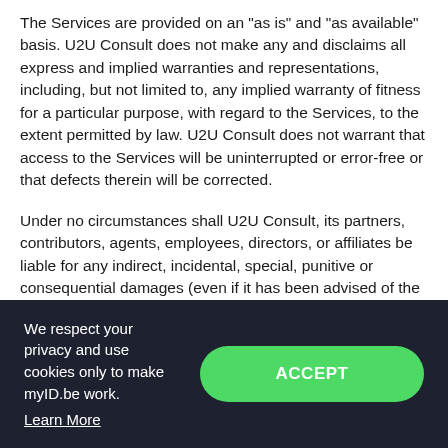The Services are provided on an "as is" and "as available" basis. U2U Consult does not make any and disclaims all express and implied warranties and representations, including, but not limited to, any implied warranty of fitness for a particular purpose, with regard to the Services, to the extent permitted by law. U2U Consult does not warrant that access to the Services will be uninterrupted or error-free or that defects therein will be corrected.
Under no circumstances shall U2U Consult, its partners, contributors, agents, employees, directors, or affiliates be liable for any indirect, incidental, special, punitive or consequential damages (even if it has been advised of the possibility of such damages) due to Your use of or due to Your reliance on any of the content contained or
We respect your privacy and use cookies only to make myID.be work. Learn More
ACCEPT